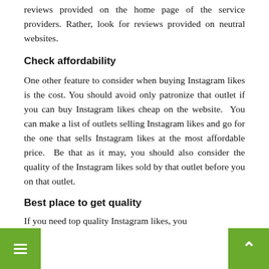reviews provided on the home page of the service providers. Rather, look for reviews provided on neutral websites.
Check affordability
One other feature to consider when buying Instagram likes is the cost. You should avoid only patronize that outlet if you can buy Instagram likes cheap on the website. You can make a list of outlets selling Instagram likes and go for the one that sells Instagram likes at the most affordable price. Be that as it may, you should also consider the quality of the Instagram likes sold by that outlet before you on that outlet.
Best place to get quality
If you need top quality Instagram likes, you